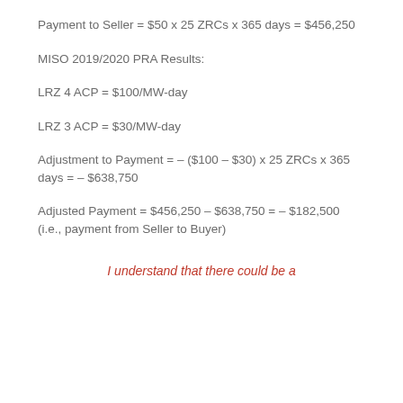Payment to Seller = $50 x 25 ZRCs x 365 days = $456,250
MISO 2019/2020 PRA Results:
LRZ 4 ACP = $100/MW-day
LRZ 3 ACP = $30/MW-day
Adjustment to Payment = – ($100 – $30) x 25 ZRCs x 365 days = – $638,750
Adjusted Payment = $456,250 – $638,750 = – $182,500 (i.e., payment from Seller to Buyer)
I understand that there could be a